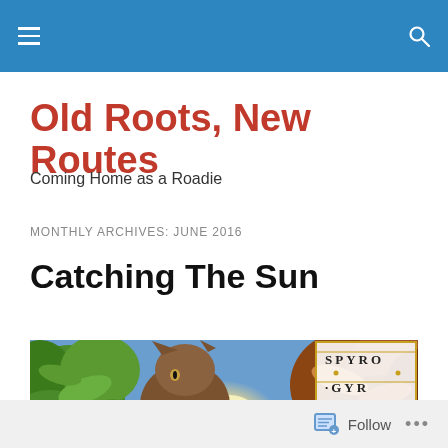Old Roots, New Routes
Coming Home as a Roadie
MONTHLY ARCHIVES: JUNE 2016
Catching The Sun
[Figure (photo): Album cover for Spyro Gyra's 'Catching the Sun' — an illustrated nature scene with green leaves, a cat peering through foliage, a bright light source, and autumn leaves with a partial 'SPYRO GYR' logo visible in the upper right corner.]
Follow